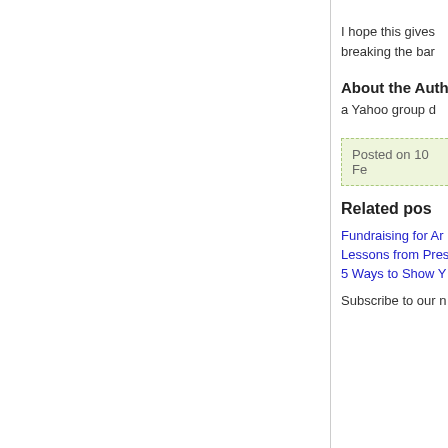I hope this gives breaking the bar
About the Auth
a Yahoo group d
Posted on 10 Fe
Related pos
Fundraising for Ar
Lessons from Pres
5 Ways to Show Y
Subscribe to our n
[Figure (illustration): How-to book or guide with green circular logo containing text 'How-t' and stepfundraisin label]